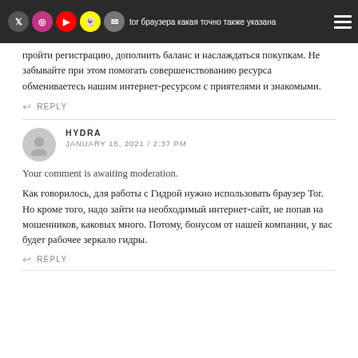вам требуется зайти на актуальную рабочую зеркало официальному сайте. Что скопировать ссылку в Tor браузера какая точно также указана в страницах нашего ресурса и раскрыть ее в Tor браузере, после этого
пройти регистрацию, дополнить баланс и наслаждаться покупкам. Не забывайте при этом помогать совершенствованию ресурса обмениваетесь нашим интернет-ресурсом с приятелями и знакомыми.
REPLY
HYDRA
JANUARY 15, 2021 / 2:37 PM
Your comment is awaiting moderation.
Как говорилось, для работы с Гидрой нужно использовать браузер Tor. Но кроме того, надо зайти на необходимый интернет-сайт, не попав на мошенников, каковых много. Потому, бонусом от нашей компании, у вас будет рабочее зеркало гидры.
REPLY